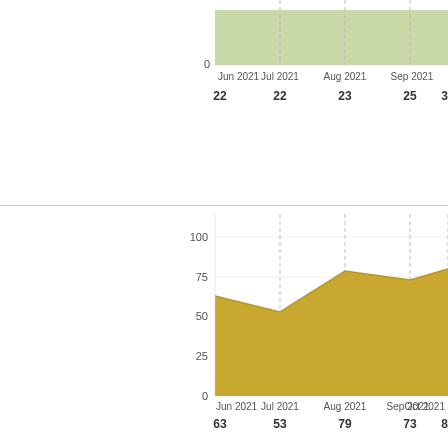[Figure (area-chart): Top chart (light green area)]
[Figure (area-chart): Bottom chart (gold area)]